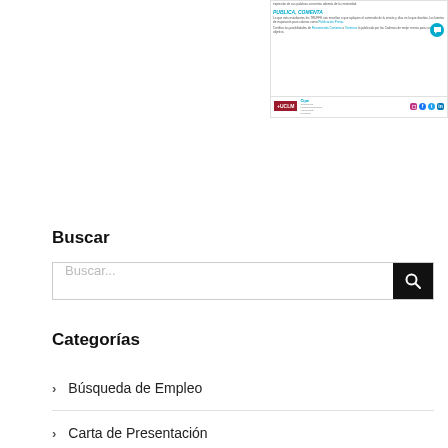[Figure (screenshot): Screenshot of a UCLM/CIPE webpage section titled 'PUBLICA, COMENTA' with text about publications and social media icons (Instagram, Facebook, Twitter, LinkedIn)]
Buscar
[Figure (screenshot): Search input box with placeholder text 'Buscar...' and a black search button with magnifying glass icon]
Categorías
Búsqueda de Empleo
Carta de Presentación